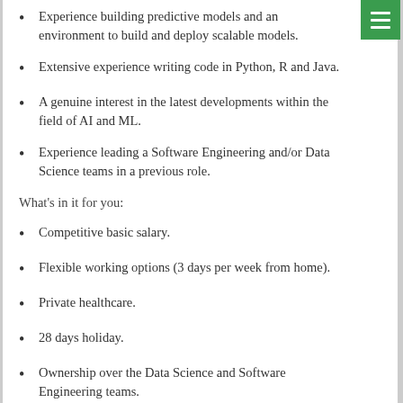Experience building predictive models and an environment to build and deploy scalable models.
Extensive experience writing code in Python, R and Java.
A genuine interest in the latest developments within the field of AI and ML.
Experience leading a Software Engineering and/or Data Science teams in a previous role.
What's in it for you:
Competitive basic salary.
Flexible working options (3 days per week from home).
Private healthcare.
28 days holiday.
Ownership over the Data Science and Software Engineering teams.